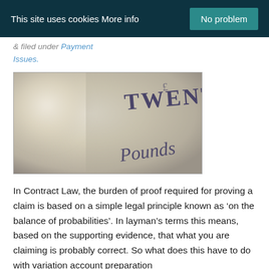This site uses cookies More info  No problem
& filed under Payment Issues.
[Figure (photo): Close-up photo of a British Twenty Pounds banknote, showing 'TWENTY' and 'Pounds' text on the note in decorative script, with a blurred background.]
In Contract Law, the burden of proof required for proving a claim is based on a simple legal principle known as ‘on the balance of probabilities’. In layman’s terms this means, based on the supporting evidence, that what you are claiming is probably correct. So what does this have to do with variation account preparation